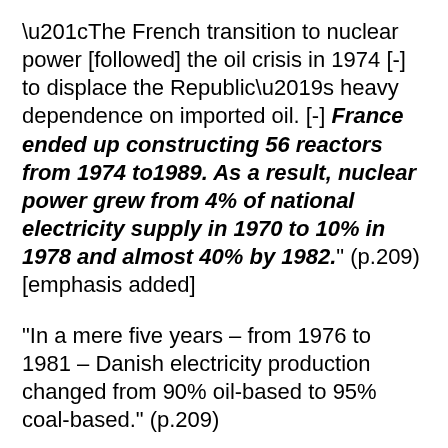“The French transition to nuclear power [followed] the oil crisis in 1974 [-] to displace the Republic’s heavy dependence on imported oil. [-] France ended up constructing 56 reactors from 1974 to1989. As a result, nuclear power grew from 4% of national electricity supply in 1970 to 10% in 1978 and almost 40% by 1982.” (p.209) [emphasis added]
“In a mere five years – from 1976 to 1981 – Danish electricity production changed from 90% oil-based to 95% coal-based.” (p.209)